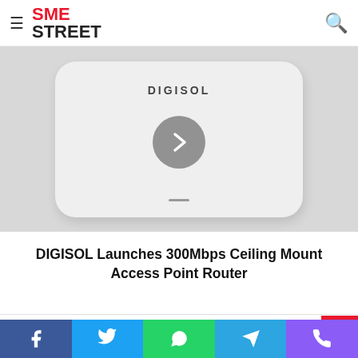SME STREET
Development over next 25 years: Economic Survey 2018
[Figure (photo): DIGISOL ceiling mount access point router device, white rounded square shape, shown from above with DIGISOL text label and a video play button overlay]
DIGISOL Launches 300Mbps Ceiling Mount Access Point Router
Related Articles